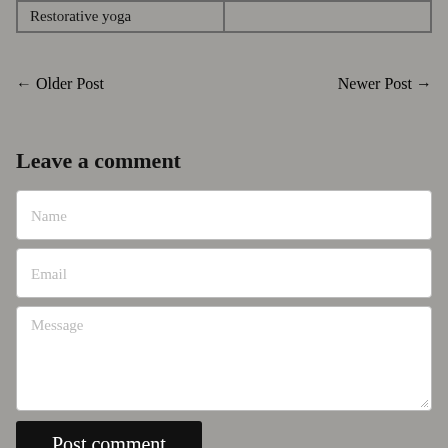| Restorative yoga |  |
← Older Post
Newer Post →
Leave a comment
Name
Email
Message
Post comment